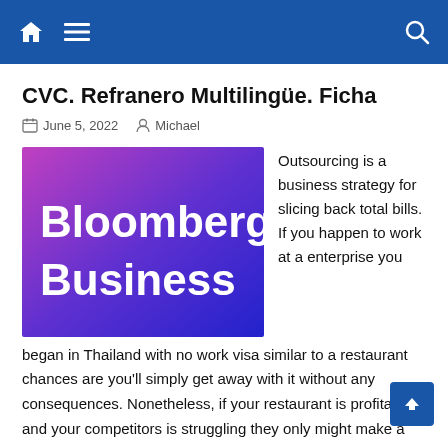Navigation bar with home, menu, and search icons
CVC. Refranero Multilingüe. Ficha
June 5, 2022   Michael
[Figure (logo): Bloomberg Business logo on a purple to pink gradient background]
Outsourcing is a business strategy for slicing back total bills. If you happen to work at a enterprise you began in Thailand with no work visa similar to a restaurant chances are you'll simply get away with it without any consequences. Nonetheless, if your restaurant is profitable and your competitors is struggling they only might make a name to the local immigration workplace and report you. The penalty is deportation and in extreme circumstances shutting